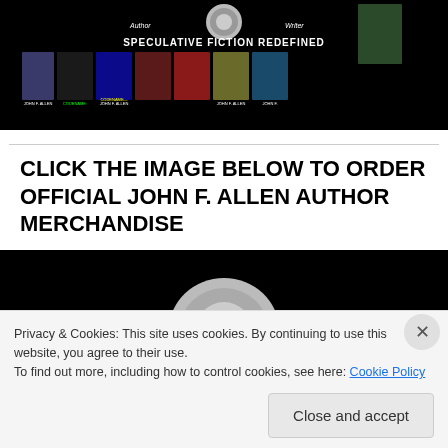[Figure (illustration): Website banner for author John F. Allen showing a circular logo, italic 'Author' and 'Writer' labels, bold text 'SPECULATIVE FICTION REDEFINED', and a row of book covers on a black background.]
CLICK THE IMAGE BELOW TO ORDER OFFICIAL JOHN F. ALLEN AUTHOR MERCHANDISE
[Figure (illustration): Black background image with a partial circular silver/grey logo visible at bottom center, cropped.]
Privacy & Cookies: This site uses cookies. By continuing to use this website, you agree to their use.
To find out more, including how to control cookies, see here: Cookie Policy
Close and accept